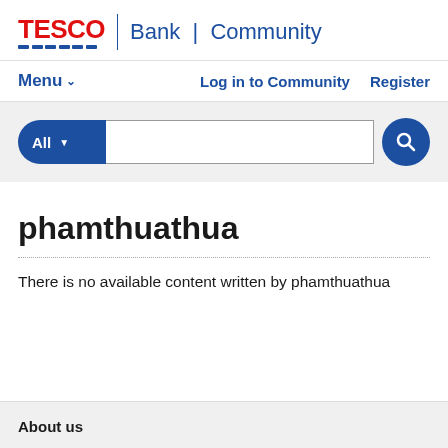TESCO Bank | Community
Menu ∨   Log in to Community   Register
[Figure (screenshot): Search bar with blue 'All' dropdown selector and magnifying glass search button]
phamthuathua
There is no available content written by phamthuathua
About us